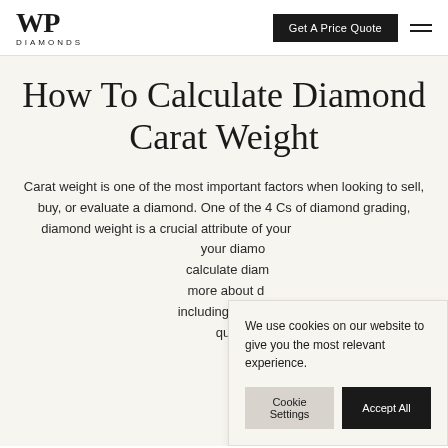WP Diamonds | Get A Price Quote
How To Calculate Diamond Carat Weight
Carat weight is one of the most important factors when looking to sell, buy, or evaluate a diamond. One of the 4 Cs of diamond grading, diamond weight is a crucial attribute of your diamond. If you'd like to know the weight of your diamond, there are a number of ways to calculate diamond carat weight. In this guide, you'll learn more about diamond carat weight calculation methods, including answers to frequently asked diamond carat weight questions.
We use cookies on our website to give you the most relevant experience.
Cookie Settings | Accept All